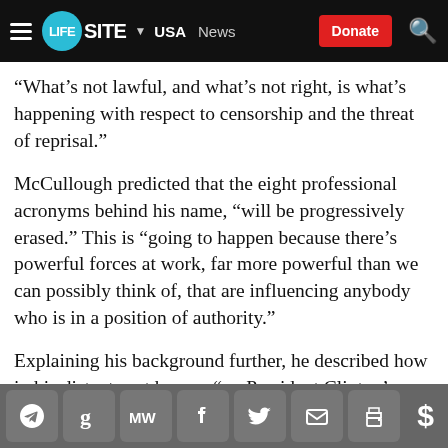LIFESITE | USA | News | Donate
“What’s not lawful, and what’s not right, is what’s happening with respect to censorship and the threat of reprisal.”
McCullough predicted that the eight professional acronyms behind his name, “will be progressively erased.” This is “going to happen because there’s powerful forces at work, far more powerful than we can possibly think of, that are influencing anybody who is in a position of authority.”
Explaining his background further, he described how in his distant past he was “on President Clinton’s advisory panel to healthcare,” and had been “on C-SPAN for seven hours getting fried by the senators.”
Social share icons: Telegram, Gettr, MeWe, Facebook, Twitter, Email, Print, Donate